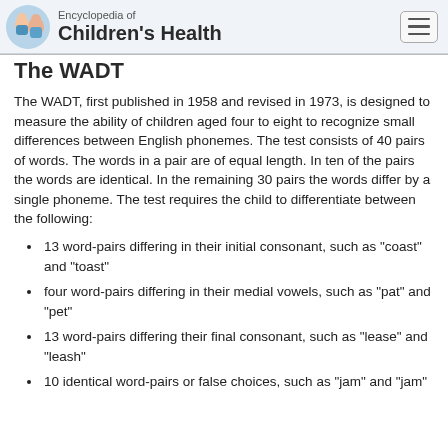Encyclopedia of Children's Health
The WADT
The WADT, first published in 1958 and revised in 1973, is designed to measure the ability of children aged four to eight to recognize small differences between English phonemes. The test consists of 40 pairs of words. The words in a pair are of equal length. In ten of the pairs the words are identical. In the remaining 30 pairs the words differ by a single phoneme. The test requires the child to differentiate between the following:
13 word-pairs differing in their initial consonant, such as "coast" and "toast"
four word-pairs differing in their medial vowels, such as "pat" and "pet"
13 word-pairs differing their final consonant, such as "lease" and "leash"
10 identical word-pairs or false choices, such as "jam" and "jam"